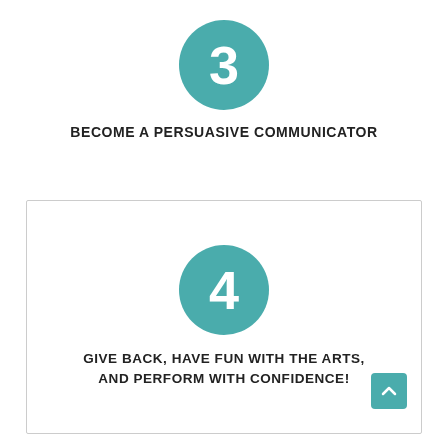[Figure (infographic): Teal circle with white number 3 inside]
BECOME A PERSUASIVE COMMUNICATOR
[Figure (infographic): Teal circle with white number 4 inside, inside a bordered box]
GIVE BACK, HAVE FUN WITH THE ARTS, AND PERFORM WITH CONFIDENCE!